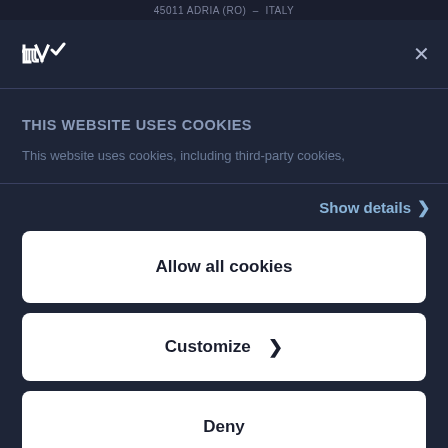45011 ADRIA (RO) – ITALY
[Figure (logo): Usercentrics/Cookiebot logo icon (stylized W with checkmark) in white on dark background, with X close button]
THIS WEBSITE USES COOKIES
This website uses cookies, including third-party cookies,
Show details >
Allow all cookies
Customize >
Deny
Powered by Cookiebot by Usercentrics